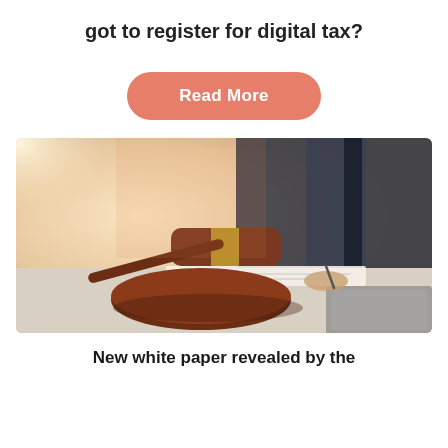got to register for digital tax?
Read More
[Figure (photo): A wooden judge's gavel in the foreground on a desk, with a person in a suit writing on documents in the background, suggestive of a legal or regulatory setting.]
New white paper revealed by the